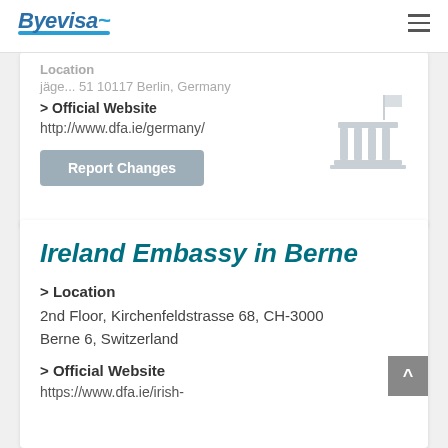Byevisa
Location
jägev... 51 10117 Berlin, Germany
> Official Website
http://www.dfa.ie/germany/
Report Changes
Ireland Embassy in Berne
> Location
2nd Floor, Kirchenfeldstrasse 68, CH-3000 Berne 6, Switzerland
> Official Website
https://www.dfa.ie/irish-